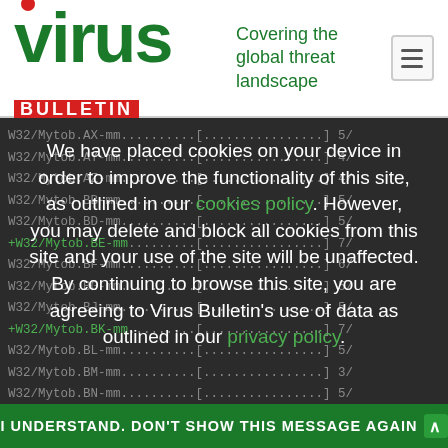[Figure (logo): Virus Bulletin logo with red dot over 'i', green 'virus' text, red BULLETIN label, and tagline 'Covering the global threat landscape']
W32/Mytob.AX-mm..........[................] 5/
W32/Mytob.AY-mm..........[................] 4/
W32/Mytob.AZ-mm..........[................] 4/
W32/Mytob.BB-mm..........[................] 5/
W32/Mytob.BD-mm..........[................] 5/
+W32/Mytob.BE-mm.........[................] 7/
W32/Mytob.BF-mm..........[................] 6/
W32/Mytob.BG-mm..........[................] 5/
W32/Mytob.BJ-mm..........[................] 5/
+W32/Mytob.BK-mm.........[................] 7/
W32/Mytob.BL-mm..........[................] 5/
W32/Mytob.BM-mm..........[................] 3/
W32/Mytob.BN-mm..........[................] 5/
+W32/Mytob.BP-mm.........[................] 7/
W32/Mytob.BR-mm..........[................] 5/
W32/Mytob.BU-mm..........[................]
W32/Mytob.BV-mm..........[................]
W32/Mytob.BW-mm..........[................] 4/
We have placed cookies on your device in order to improve the functionality of this site, as outlined in our cookies policy. However, you may delete and block all cookies from this site and your use of the site will be unaffected. By continuing to browse this site, you are agreeing to Virus Bulletin's use of data as outlined in our privacy policy.
I UNDERSTAND. DON'T SHOW THIS MESSAGE AGAIN